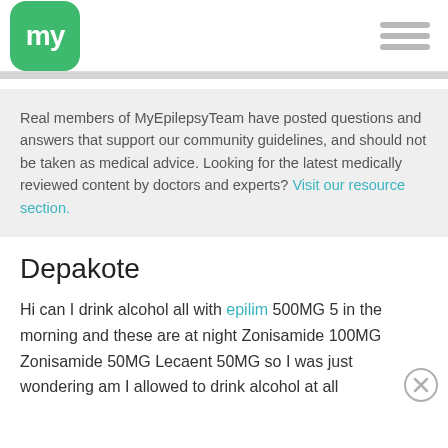[Figure (logo): MyEpilepsyTeam logo: green rounded square with white 'my' text]
Real members of MyEpilepsyTeam have posted questions and answers that support our community guidelines, and should not be taken as medical advice. Looking for the latest medically reviewed content by doctors and experts? Visit our resource section.
Depakote
Hi can I drink alcohol all with epilim 500MG 5 in the morning and these are at night Zonisamide 100MG Zonisamide 50MG Lecaent 50MG so I was just wondering am I allowed to drink alcohol at all